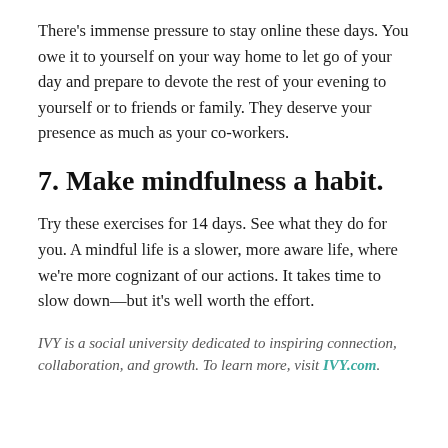There's immense pressure to stay online these days. You owe it to yourself on your way home to let go of your day and prepare to devote the rest of your evening to yourself or to friends or family. They deserve your presence as much as your co-workers.
7. Make mindfulness a habit.
Try these exercises for 14 days. See what they do for you. A mindful life is a slower, more aware life, where we're more cognizant of our actions. It takes time to slow down—but it's well worth the effort.
IVY is a social university dedicated to inspiring connection, collaboration, and growth. To learn more, visit IVY.com.